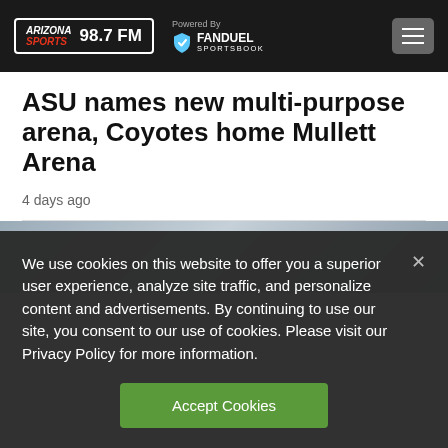Arizona Sports 98.7 FM — Powered By FanDuel Sportsbook
ASU names new multi-purpose arena, Coyotes home Mullett Arena
4 days ago
[Figure (photo): Photo of people at what appears to be a press event or sports signing, partially visible]
We use cookies on this website to offer you a superior user experience, analyze site traffic, and personalize content and advertisements. By continuing to use our site, you consent to our use of cookies. Please visit our Privacy Policy for more information.
Accept Cookies